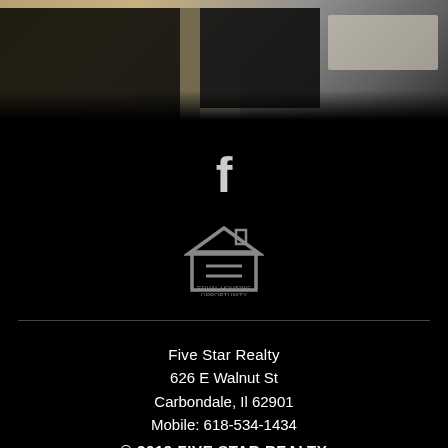[Figure (photo): Blurry interior room photo showing dark fireplace area and beige/cream walls with black overlay regions, red bar at top]
[Figure (logo): Facebook 'f' icon in white on black background]
[Figure (logo): Equal Housing Opportunity logo - house with equals sign, text 'EQUAL HOUSING OPPORTUNITY']
Five Star Realty
626 E Walnut St
Carbondale, Il 62901
Mobile: 618-534-1434
© 2019 FIVE STAR REALTY
18-21:1552042836  |  Privacy  |  Login
[Figure (logo): Elm Street Agent Marketing logo - triangle/mountain icon with text 'ELM STREET AGENTMARKETING']